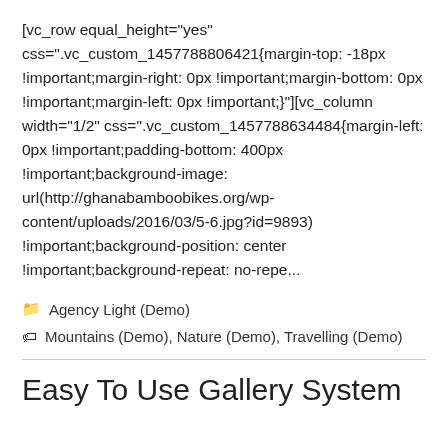[vc_row equal_height="yes" css=".vc_custom_1457788806421{margin-top: -18px !important;margin-right: 0px !important;margin-bottom: 0px !important;margin-left: 0px !important;}"][vc_column width="1/2" css=".vc_custom_1457788634484{margin-left: 0px !important;padding-bottom: 400px !important;background-image: url(http://ghanabamboobikes.org/wp-content/uploads/2016/03/5-6.jpg?id=9893) !important;background-position: center !important;background-repeat: no-repe...
Agency Light (Demo)
Mountains (Demo), Nature (Demo), Travelling (Demo)
Easy To Use Gallery System